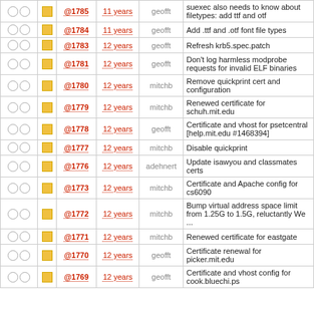|  |  |  | Rev | Age | Author | Message |
| --- | --- | --- | --- | --- | --- | --- |
| ○ ○ | ■ | @1785 | 11 years | geofft | suexec also needs to know about filetypes: add ttf and otf |
| ○ ○ | ■ | @1784 | 11 years | geofft | Add .ttf and .otf font file types |
| ○ ○ | ■ | @1783 | 12 years | geofft | Refresh krb5.spec.patch |
| ○ ○ | ■ | @1781 | 12 years | geofft | Don't log harmless modprobe requests for invalid ELF binaries |
| ○ ○ | ■ | @1780 | 12 years | mitchb | Remove quickprint cert and configuration |
| ○ ○ | ■ | @1779 | 12 years | mitchb | Renewed certificate for schuh.mit.edu |
| ○ ○ | ■ | @1778 | 12 years | geofft | Certificate and vhost for psetcentral [help.mit.edu #1468394] |
| ○ ○ | ■ | @1777 | 12 years | mitchb | Disable quickprint |
| ○ ○ | ■ | @1776 | 12 years | adehnert | Update isawyou and classmates certs |
| ○ ○ | ■ | @1773 | 12 years | mitchb | Certificate and Apache config for cs6090 |
| ○ ○ | ■ | @1772 | 12 years | mitchb | Bump virtual address space limit from 1.25G to 1.5G, reluctantly We ... |
| ○ ○ | ■ | @1771 | 12 years | mitchb | Renewed certificate for eastgate |
| ○ ○ | ■ | @1770 | 12 years | geofft | Certificate renewal for picker.mit.edu |
| ○ ○ | ■ | @1769 | 12 years | geofft | Certificate and vhost config for cook.bluechi.ps |